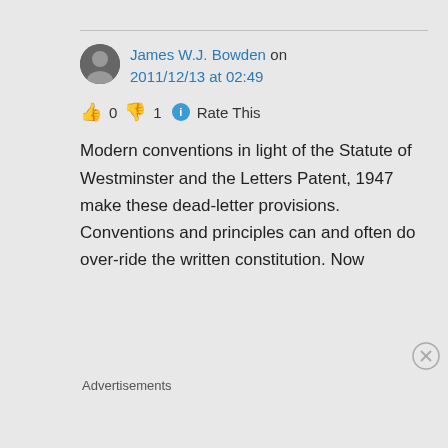James W.J. Bowden on 2011/12/13 at 02:49
👍 0 👎 1 ℹ Rate This
Modern conventions in light of the Statute of Westminster and the Letters Patent, 1947 make these dead-letter provisions. Conventions and principles can and often do over-ride the written constitution. Now
Advertisements